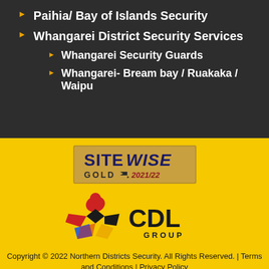Paihia/ Bay of Islands Security
Whangarei District Security Services
Whangarei Security Guards
Whangarei- Bream bay / Ruakaka / Waipu
[Figure (logo): SiteWise Gold 2021/22 badge]
[Figure (logo): CDL Group logo with colorful X symbol and CDL GROUP text]
Copyright © 2022 Northern Districts Security. All Rights Reserved. | Terms and Conditions | Privacy Policy